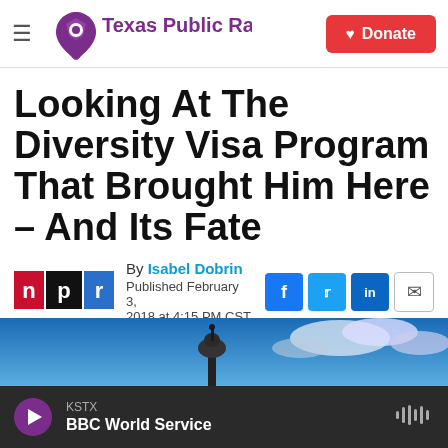Texas Public Radio — Donate
Looking At The Diversity Visa Program That Brought Him Here – And Its Fate
By Isabel Dobrin
Published February 3, 2018 at 4:15 PM CST
[Figure (photo): Photo of a building dome/statue against a blue sky with clouds]
KSTX — BBC World Service (audio player bar)